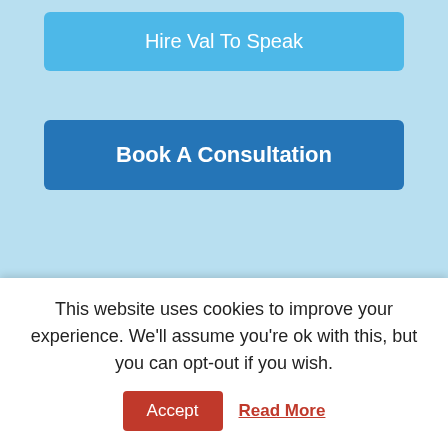Hire Val To Speak
Book A Consultation
[Figure (other): Scroll navigation widget with up and down arrows]
Is your pet trying to talk to you?
[Figure (illustration): Book cover: REVEALED! HIDDEN SECRETS TO COMMUNICATING WITH PETS]
This website uses cookies to improve your experience. We'll assume you're ok with this, but you can opt-out if you wish.
Accept
Read More